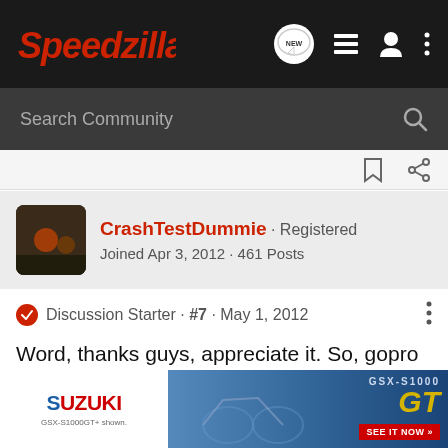Speedzilla · Search Community
CrashTestDummie · Registered · Joined Apr 3, 2012 · 461 Posts
Discussion Starter · #7 · May 1, 2012
Word, thanks guys, appreciate it. So, gopro is the way to go huh?
[Figure (other): Suzuki GSX-S1000GT advertisement banner]
2008 CBR
2003 CBR